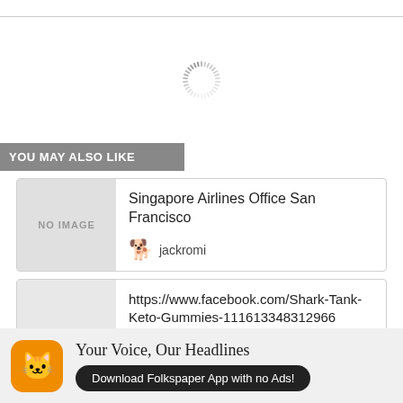[Figure (other): Loading spinner (circular dashed ring) centered on white background]
YOU MAY ALSO LIKE
Singapore Airlines Office San Francisco
jackromi
https://www.facebook.com/Shark-Tank-Keto-Gummies-111613348312966
[Figure (infographic): Ad banner: orange cat app icon, headline 'Your Voice, Our Headlines', button 'Download Folkspaper App with no Ads!']